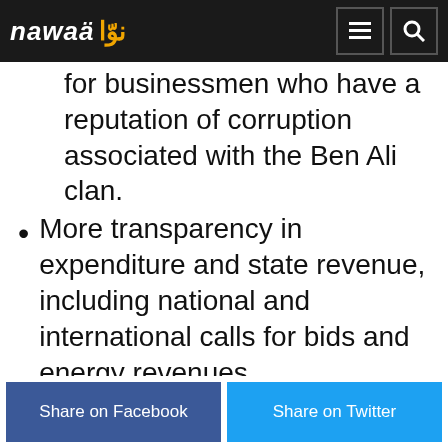nawaa / نوّا — header with menu and search icons
for businessmen who have a reputation of corruption associated with the Ben Ali clan.
More transparency in expenditure and state revenue, including national and international calls for bids and energy revenues.
Substantive reform to limit corruption, which has increased according to several national and international studies, as well as the
Share on Facebook   Share on Twitter